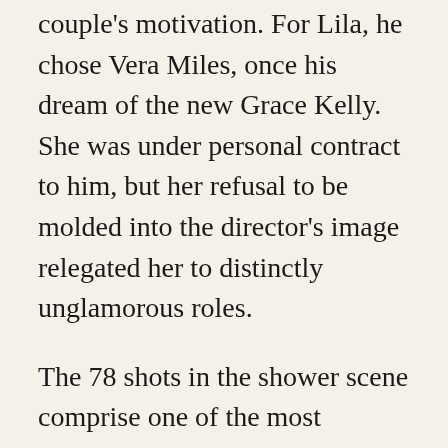couple's motivation. For Lila, he chose Vera Miles, once his dream of the new Grace Kelly. She was under personal contract to him, but her refusal to be molded into the director's image relegated her to distinctly unglamorous roles.
The 78 shots in the shower scene comprise one of the most famous 45 seconds in film history, scored to Bernard Herrmann's screeching violins. The images are so swift and convincing, even the censors couldn't decide if they saw nudity and bloody knife wounds. Sources say Janet Leigh's naked body was never filmed, although she says all the shots in the film are her. A more revealing shot of the body double's